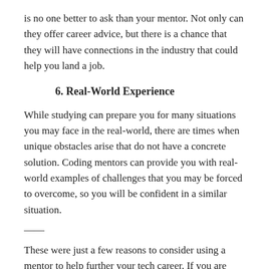is no one better to ask than your mentor. Not only can they offer career advice, but there is a chance that they will have connections in the industry that could help you land a job.
6. Real-World Experience
While studying can prepare you for many situations you may face in the real-world, there are times when unique obstacles arise that do not have a concrete solution. Coding mentors can provide you with real-world examples of challenges that you may be forced to overcome, so you will be confident in a similar situation.
——
These were just a few reasons to consider using a mentor to help further your tech career. If you are